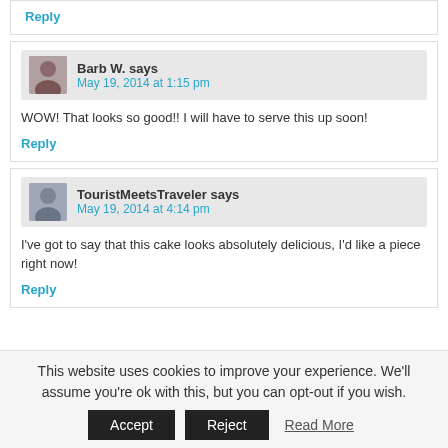Reply
Barb W. says
May 19, 2014 at 1:15 pm
WOW! That looks so good!! I will have to serve this up soon!
Reply
TouristMeetsTraveler says
May 19, 2014 at 4:14 pm
I've got to say that this cake looks absolutely delicious, I'd like a piece right now!
Reply
This website uses cookies to improve your experience. We'll assume you're ok with this, but you can opt-out if you wish.